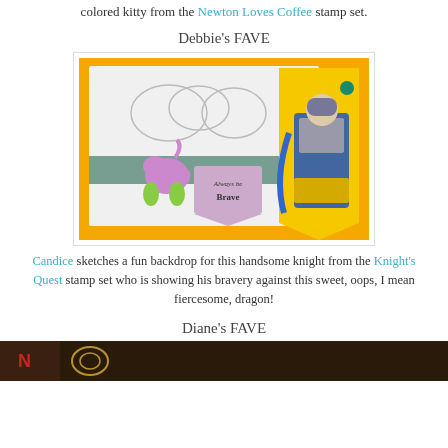colored kitty from the Newton Loves Coffee stamp set.
Debbie's FAVE
[Figure (photo): A handmade craft card showing a small purple/green dragon and a colorful knight in blue and yellow armor on an orange/yellow background, with a banner reading 'Always be Brave']
Candice sketches a fun backdrop for this handsome knight from the Knight's Quest stamp set who is showing his bravery against this sweet, oops, I mean fiercesome, dragon!
Diane's FAVE
[Figure (photo): Bottom portion of a craft/art image, partially visible]